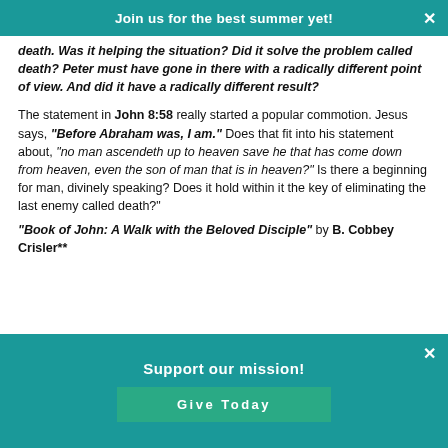Join us for the best summer yet!
death. Was it helping the situation? Did it solve the problem called death? Peter must have gone in there with a radically different point of view. And did it have a radically different result?

The statement in John 8:58 really started a popular commotion. Jesus says, “Before Abraham was, I am.” Does that fit into his statement about, “no man ascendeth up to heaven save he that has come down from heaven, even the son of man that is in heaven?” Is there a beginning for man, divinely speaking? Does it hold within it the key of eliminating the last enemy called death?"
“Book of John: A Walk with the Beloved Disciple” by B. Cobbey Crisler**
Support our mission!